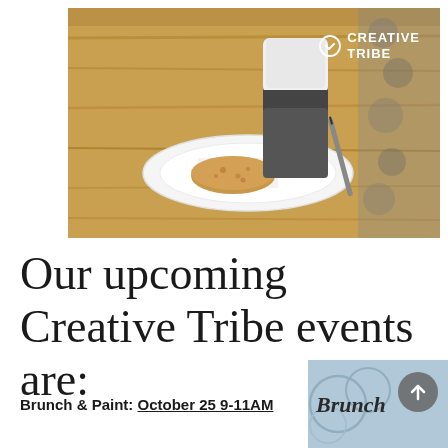[Figure (photo): A coffee cup on a wooden table with a cookie on a white plate and a pen, patterned background visible. 'Creative Tribe' logo with checkmark badge overlay in top right.]
Our upcoming Creative Tribe events are:
Brunch & Paint: October 25 9-11AM
[Figure (photo): Partial photo showing 'Brunch' cursive text with decorative blue/teal background and a circular arrow button overlay.]